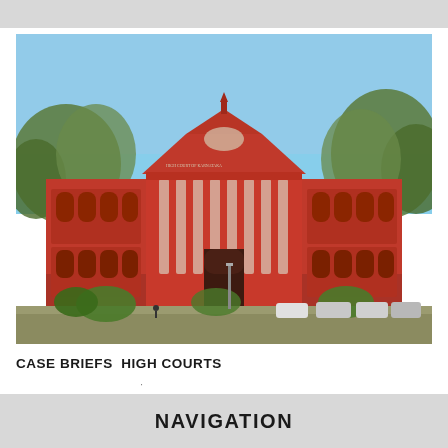[Figure (photo): Photograph of a large red colonial-style courthouse building (Karnataka High Court, Bangalore) with neoclassical columns, triangular pediment, arched windows, and surrounding trees and parked cars in the foreground under a clear blue sky.]
CASE BRIEFS  HIGH COURTS
NAVIGATION